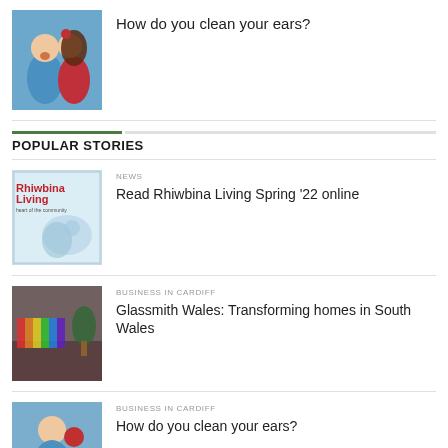[Figure (photo): Two children, a boy and a girl whispering into his ear, against a blue background]
How do you clean your ears?
POPULAR STORIES
[Figure (photo): Rhiwbina Living magazine cover, Spring 22]
NEWS
Read Rhiwbina Living Spring '22 online
[Figure (photo): Colourful glasswork display on a counter, Glassmith Wales]
BUSINESS IN CARDIFF
Glassmith Wales: Transforming homes in South Wales
[Figure (photo): Child with a red item near face, blue background]
BUSINESS IN CARDIFF
How do you clean your ears?